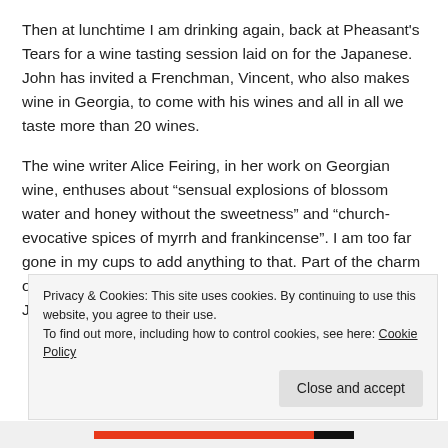Then at lunchtime I am drinking again, back at Pheasant's Tears for a wine tasting session laid on for the Japanese. John has invited a Frenchman, Vincent, who also makes wine in Georgia, to come with his wines and all in all we taste more than 20 wines.
The wine writer Alice Feiring, in her work on Georgian wine, enthuses about “sensual explosions of blossom water and honey without the sweetness” and “church-evocative spices of myrrh and frankincense”. I am too far gone in my cups to add anything to that. Part of the charm of the occasion is that John, Vincent and one of the Japanese men all speak Georgian and use it for some of
Privacy & Cookies: This site uses cookies. By continuing to use this website, you agree to their use.
To find out more, including how to control cookies, see here: Cookie Policy
Close and accept